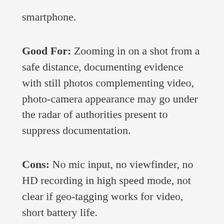smartphone.
Good For: Zooming in on a shot from a safe distance, documenting evidence with still photos complementing video, photo-camera appearance may go under the radar of authorities present to suppress documentation.
Cons: No mic input, no viewfinder, no HD recording in high speed mode, not clear if geo-tagging works for video, short battery life.